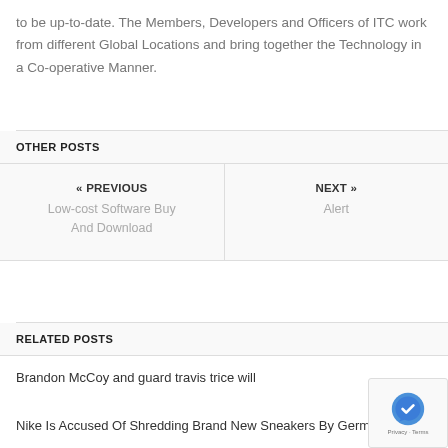to be up-to-date. The Members, Developers and Officers of ITC work from different Global Locations and bring together the Technology in a Co-operative Manner.
OTHER POSTS
« PREVIOUS
Low-cost Software Buy And Download
NEXT »
Alert
RELATED POSTS
Brandon McCoy and guard travis trice will
Nike Is Accused Of Shredding Brand New Sneakers By German